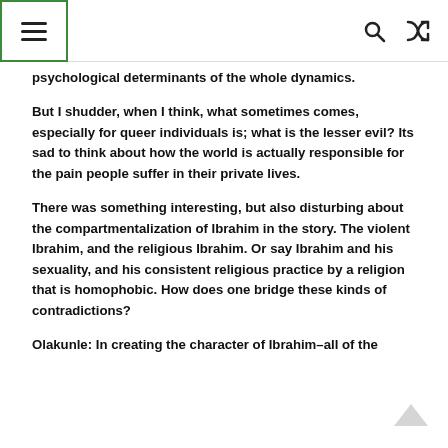☰ [menu icon] [search icon] [shuffle icon]
psychological determinants of the whole dynamics.
But I shudder, when I think, what sometimes comes, especially for queer individuals is; what is the lesser evil? Its sad to think about how the world is actually responsible for the pain people suffer in their private lives.
There was something interesting, but also disturbing about the compartmentalization of Ibrahim in the story. The violent Ibrahim, and the religious Ibrahim. Or say Ibrahim and his sexuality, and his consistent religious practice by a religion that is homophobic. How does one bridge these kinds of contradictions?
Olakunle: In creating the character of Ibrahim–all of the